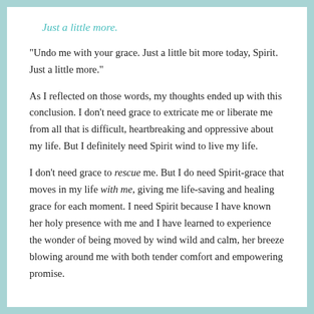Just a little more.
“Undo me with your grace. Just a little bit more today, Spirit. Just a little more.”
As I reflected on those words, my thoughts ended up with this conclusion. I don’t need grace to extricate me or liberate me from all that is difficult, heartbreaking and oppressive about my life. But I definitely need Spirit wind to live my life.
I don’t need grace to rescue me. But I do need Spirit-grace that moves in my life with me, giving me life-saving and healing grace for each moment. I need Spirit because I have known her holy presence with me and I have learned to experience the wonder of being moved by wind wild and calm, her breeze blowing around me with both tender comfort and empowering promise.